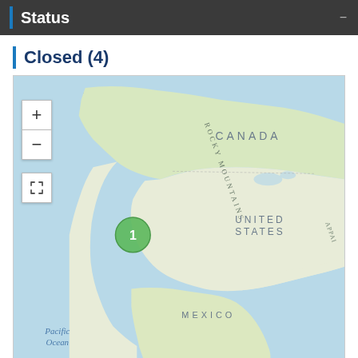Status
Closed (4)
[Figure (map): Interactive map of North America showing a green cluster marker with the number 1 located on the western coast of the United States (California area). Map shows Canada, United States, Mexico, Rocky Mountains, Appalachians, and Pacific Ocean labels. Zoom in/out controls and fullscreen button visible on left side.]